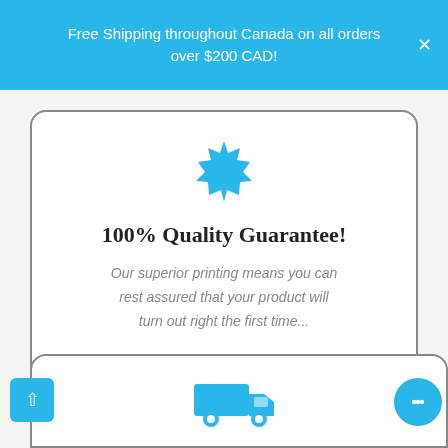Free Shipping throughout Canada on all orders over $200 CAD!
[Figure (illustration): Blue star/seal badge icon]
100% Quality Guarantee!
Our superior printing means you can rest assured that your product will turn out right the first time...
[Figure (illustration): Blue delivery truck icon at bottom of page, partially visible card]